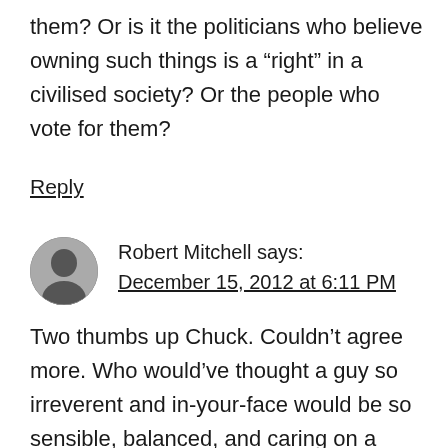them? Or is it the politicians who believe owning such things is a “right” in a civilised society? Or the people who vote for them?
Reply
Robert Mitchell says: December 15, 2012 at 6:11 PM
Two thumbs up Chuck. Couldn’t agree more. Who would’ve thought a guy so irreverent and in-your-face would be so sensible, balanced, and caring on a subject so difficult to navigate. I’m impressed!